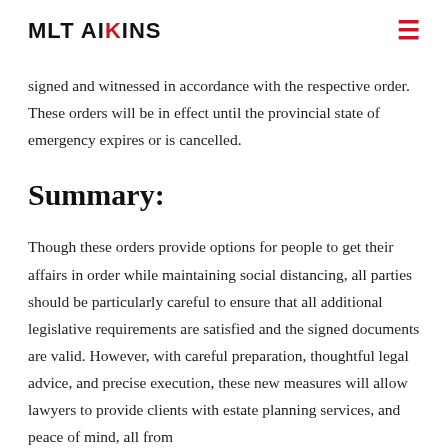MLT AIKINS
signed and witnessed in accordance with the respective order. These orders will be in effect until the provincial state of emergency expires or is cancelled.
Summary:
Though these orders provide options for people to get their affairs in order while maintaining social distancing, all parties should be particularly careful to ensure that all additional legislative requirements are satisfied and the signed documents are valid. However, with careful preparation, thoughtful legal advice, and precise execution, these new measures will allow lawyers to provide clients with estate planning services, and peace of mind, all from